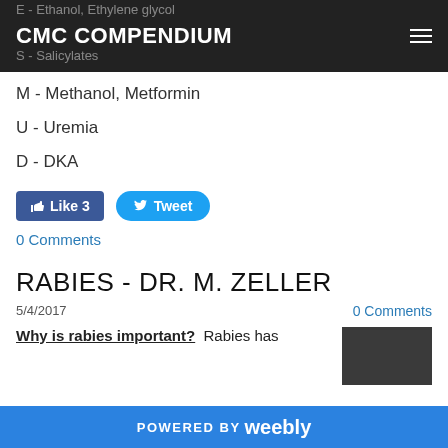CMC COMPENDIUM
E - Ethanol, Ethylene glycol
S - Salicylates
M - Methanol, Metformin
U - Uremia
D - DKA
Like 3  Tweet
0 Comments
RABIES - DR. M. ZELLER
5/4/2017
0 Comments
Why is rabies important?  Rabies has
[Figure (photo): Dark rectangular image, partially visible at right edge]
POWERED BY weebly